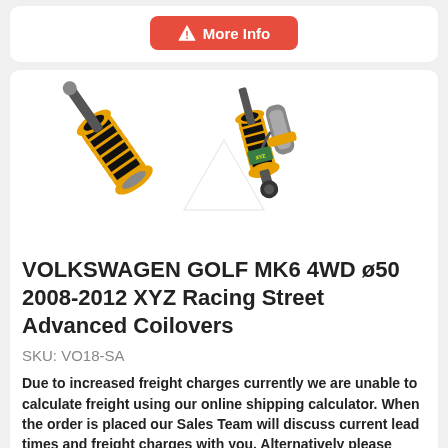[Figure (other): Red rounded button with warning triangle icon and text 'More Info']
[Figure (photo): Product photo of XYZ Racing coilover suspension components with gold/black/chrome coloring on white background]
VOLKSWAGEN GOLF MK6 4WD ø50 2008-2012 XYZ Racing Street Advanced Coilovers
SKU: VO18-SA
Due to increased freight charges currently we are unable to calculate freight using our online shipping calculator. When the order is placed our Sales Team will discuss current lead times and freight charges with you. Alternatively please